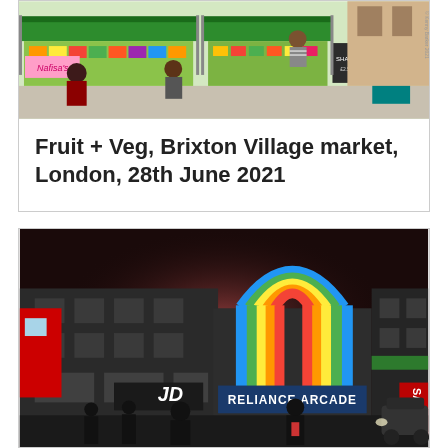[Figure (illustration): Illustrated scene of a fruit and vegetable market stall at Brixton Village market. Shows vendors and customers, colorful produce stalls with green canopies, a 'Nafisa's' sign, and people interacting at the market.]
Fruit + Veg, Brixton Village market, London, 28th June 2021
[Figure (illustration): Illustrated night scene of Brixton high street showing Reliance Arcade with a large illuminated rainbow arch sign in neon colors (red, orange, yellow, green, blue). Shows JD Sports store, SALE sign, silhouettes of pedestrians, and a red bus on the left.]